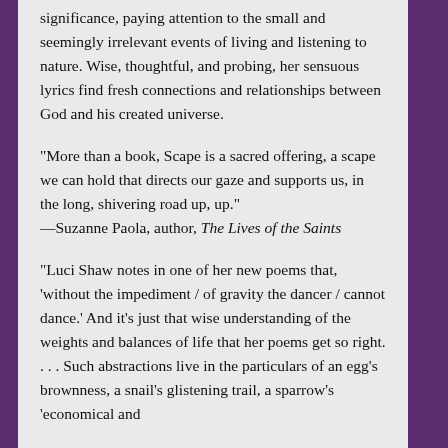significance, paying attention to the small and seemingly irrelevant events of living and listening to nature. Wise, thoughtful, and probing, her sensuous lyrics find fresh connections and relationships between God and his created universe.
"More than a book, Scape is a sacred offering, a scape we can hold that directs our gaze and supports us, in the long, shivering road up, up." —Suzanne Paola, author, The Lives of the Saints
"Luci Shaw notes in one of her new poems that, 'without the impediment / of gravity the dancer / cannot dance.' And it's just that wise understanding of the weights and balances of life that her poems get so right. . . . Such abstractions live in the particulars of an egg's brownness, a snail's glistening trail, a sparrow's 'economical and